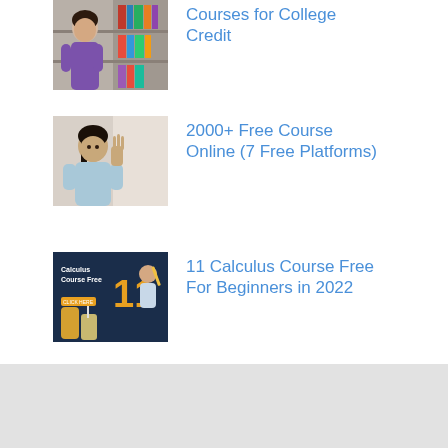[Figure (photo): Person in purple top in a library/bookshelf setting]
Courses for College Credit
[Figure (photo): Woman in light blue top gesturing with hand]
2000+ Free Course Online (7 Free Platforms)
[Figure (photo): Dark blue graphic with text 'Calculus Course Free' and number 11, with coffee/smoothie items]
11 Calculus Course Free For Beginners in 2022